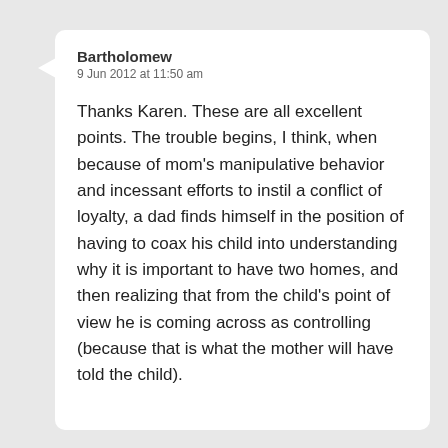Bartholomew
9 Jun 2012 at 11:50 am
Thanks Karen. These are all excellent points. The trouble begins, I think, when because of mom’s manipulative behavior and incessant efforts to instil a conflict of loyalty, a dad finds himself in the position of having to coax his child into understanding why it is important to have two homes, and then realizing that from the child’s point of view he is coming across as controlling (because that is what the mother will have told the child).